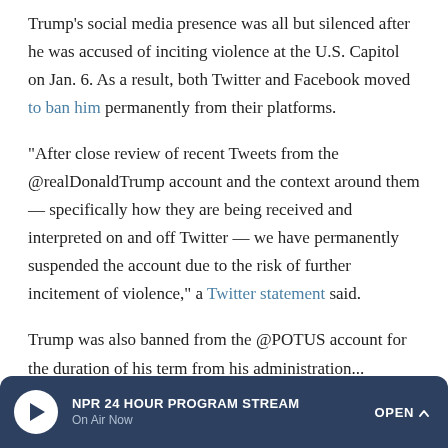Trump's social media presence was all but silenced after he was accused of inciting violence at the U.S. Capitol on Jan. 6. As a result, both Twitter and Facebook moved to ban him permanently from their platforms.
"After close review of recent Tweets from the @realDonaldTrump account and the context around them — specifically how they are being received and interpreted on and off Twitter — we have permanently suspended the account due to the risk of further incitement of violence," a Twitter statement said.
Trump was also banned from the @POTUS account for the duration of his term from his administration...
NPR 24 HOUR PROGRAM STREAM On Air Now OPEN